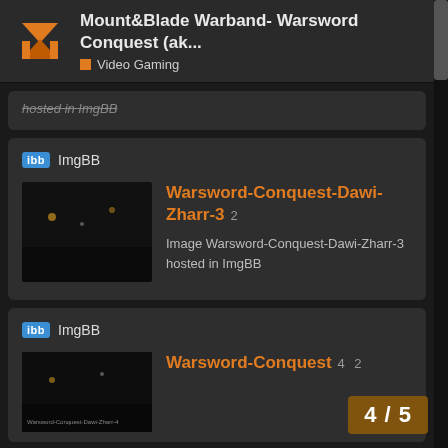Mount&Blade Warband- Warsword Conquest (ak... | Video Gaming
hosted in ImgBB
ImgBB
Warsword-Conquest-Dawi-Zharr-3  2
Image Warsword-Conquest-Dawi-Zharr-3 hosted in ImgBB
ImgBB
Warsword-Conquest  4  2
4 / 5